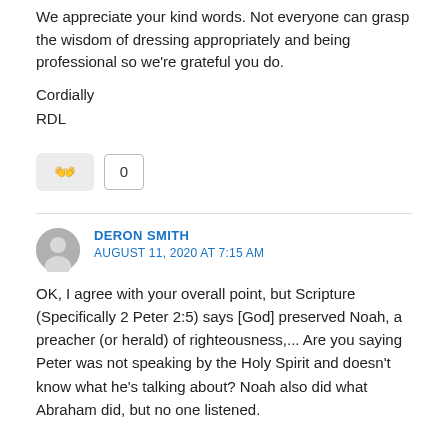You're so welcome Anita
We appreciate your kind words. Not everyone can grasp the wisdom of dressing appropriately and being professional so we're grateful you do.
Cordially
RDL
[Figure (other): Vote/reaction buttons: emoji icon box and vote count box showing 0]
DERON SMITH
AUGUST 11, 2020 AT 7:15 AM
OK, I agree with your overall point, but Scripture (Specifically 2 Peter 2:5) says [God] preserved Noah, a preacher (or herald) of righteousness,... Are you saying Peter was not speaking by the Holy Spirit and doesn't know what he's talking about? Noah also did what Abraham did, but no one listened.